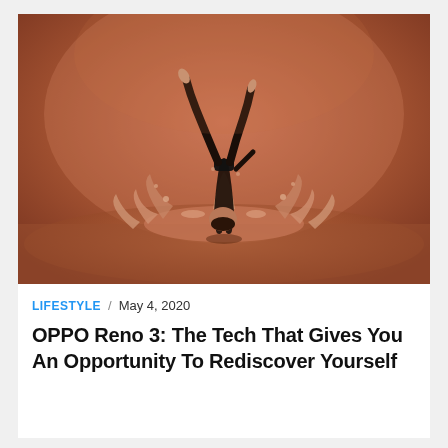[Figure (photo): A person performing a handstand yoga/acrobatic pose in black athletic wear, with legs split in the air, balanced on hands amid a dramatic water splash on a warm copper/brown reflective surface background.]
LIFESTYLE / May 4, 2020
OPPO Reno 3: The Tech That Gives You An Opportunity To Rediscover Yourself